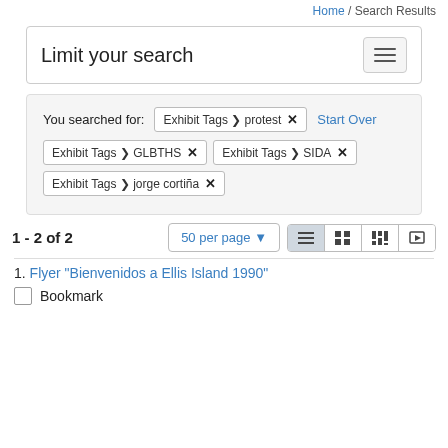Home / Search Results
Limit your search
You searched for: Exhibit Tags > protest [x]  Start Over  Exhibit Tags > GLBTHS [x]  Exhibit Tags > SIDA [x]  Exhibit Tags > jorge cortiña [x]
1 - 2 of 2  50 per page
1. Flyer "Bienvenidos a Ellis Island 1990"
Bookmark